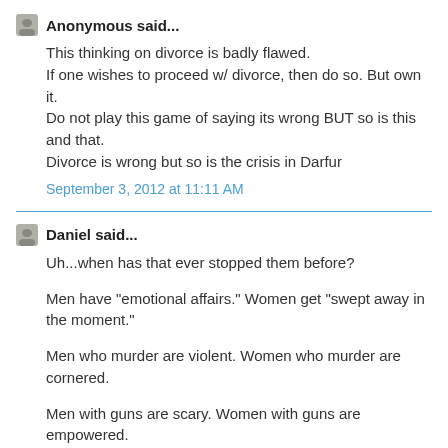Anonymous said...
This thinking on divorce is badly flawed.
If one wishes to proceed w/ divorce, then do so. But own it.
Do not play this game of saying its wrong BUT so is this and that.
Divorce is wrong but so is the crisis in Darfur
September 3, 2012 at 11:11 AM
Daniel said...
Uh...when has that ever stopped them before?

Men have "emotional affairs." Women get "swept away in the moment."

Men who murder are violent. Women who murder are cornered.

Men with guns are scary. Women with guns are empowered.